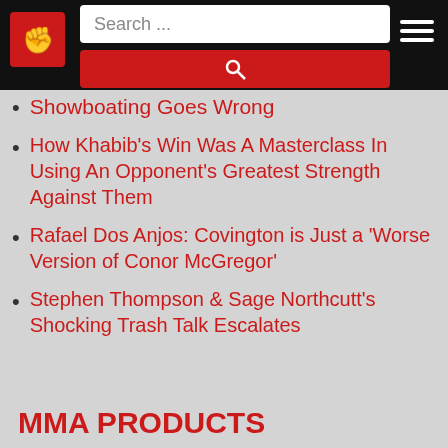Search ...
Showboating Goes Wrong
How Khabib's Win Was A Masterclass In Using An Opponent's Greatest Strength Against Them
Rafael Dos Anjos: Covington is Just a 'Worse Version of Conor McGregor'
Stephen Thompson & Sage Northcutt's Shocking Trash Talk Escalates
MMA PRODUCTS